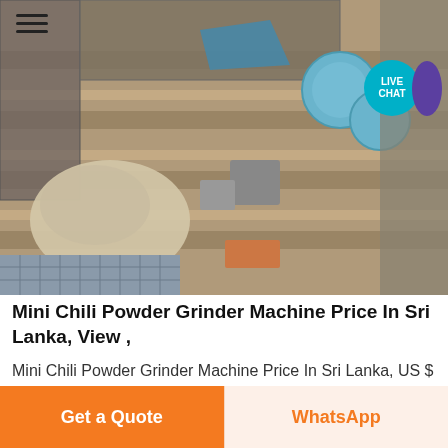[Figure (photo): Aerial/overhead view of an industrial facility or factory yard showing machinery, equipment, materials, and structures from above. Blue industrial tanks/containers visible, as well as striped floor patterns and materials storage.]
Mini Chili Powder Grinder Machine Price In Sri Lanka, View ,
Mini Chili Powder Grinder Machine Price In Sri Lanka, US $ 1800 - 5000 / Set, GELGOOG, Henan, China, Engineers available to service machinery from GELGOOG INTELLIGENT TECHNOLOGY CO.